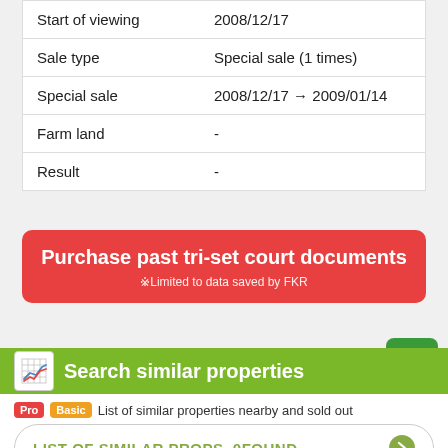| Start of viewing | 2008/12/17 |
| Sale type | Special sale (1 times) |
| Special sale | 2008/12/17 ~ 2009/01/14 |
| Farm land | - |
| Result | - |
Purchase past tri-set court documents
※Limited to data saved by FKR
Search similar properties
Pro Basic List of similar properties nearby and sold out
LIST OF SIMILAR PROPS. 0FOUND